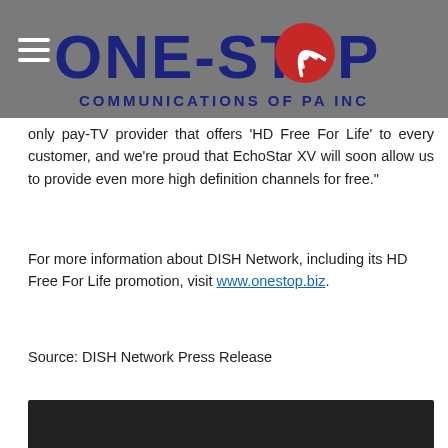[Figure (logo): One-Stop Communications of PA Inc logo with dark blue text and red satellite dish icon replacing the O in STOP, on a grey header bar]
only pay-TV provider that offers 'HD Free For Life' to every customer, and we're proud that EchoStar XV will soon allow us to provide even more high definition channels for free."
For more information about DISH Network, including its HD Free For Life promotion, visit www.onestop.biz.
Source: DISH Network Press Release
[Figure (screenshot): Dark video player embed area]
Message Us